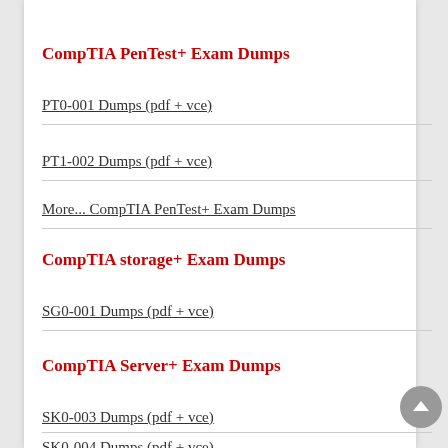CompTIA PenTest+ Exam Dumps
PT0-001 Dumps (pdf + vce)
PT1-002 Dumps (pdf + vce)
More... CompTIA PenTest+ Exam Dumps
CompTIA storage+ Exam Dumps
SG0-001 Dumps (pdf + vce)
CompTIA Server+ Exam Dumps
SK0-003 Dumps (pdf + vce)
SK0-004 Dumps (pdf + vce)